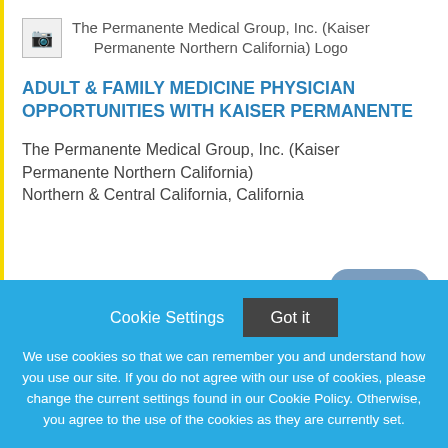[Figure (logo): The Permanente Medical Group, Inc. (Kaiser Permanente Northern California) Logo placeholder image with alt text]
ADULT & FAMILY MEDICINE PHYSICIAN OPPORTUNITIES WITH KAISER PERMANENTE
The Permanente Medical Group, Inc. (Kaiser Permanente Northern California)
Northern & Central California, California
Featured!
Cookie Settings  Got it
We use cookies so that we can remember you and understand how you use our site. If you do not agree with our use of cookies, please change the current settings found in our Cookie Policy. Otherwise, you agree to the use of the cookies as they are currently set.